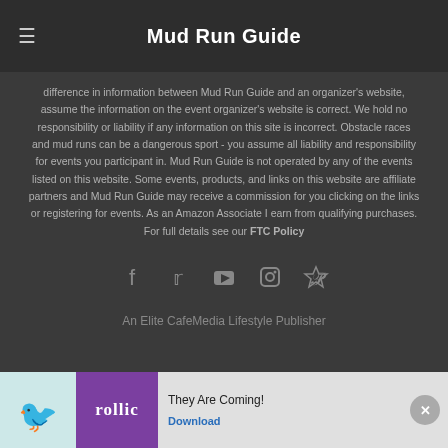Mud Run Guide
difference in information between Mud Run Guide and an organizer's website, assume the information on the event organizer's website is correct. We hold no responsibility or liability if any information on this site is incorrect. Obstacle races and mud runs can be a dangerous sport - you assume all liability and responsibility for events you participant in. Mud Run Guide is not operated by any of the events listed on this website. Some events, products, and links on this website are affiliate partners and Mud Run Guide may receive a commission for you clicking on the links or registering for events. As an Amazon Associate I earn from qualifying purchases. For full details see our FTC Policy
[Figure (infographic): Social media icons: Facebook, Twitter, YouTube, Instagram, Pinterest]
An Elite CafeMedia Lifestyle Publisher
[Figure (infographic): Advertisement banner: Rollic game ad with 'They Are Coming!' text and Download button]